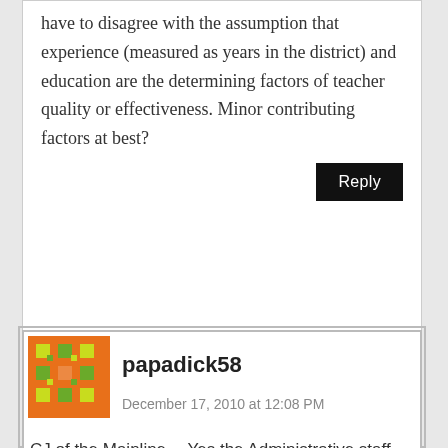have to disagree with the assumption that experience (measured as years in the district) and education are the determining factors of teacher quality or effectiveness. Minor contributing factors at best?
Reply
[Figure (illustration): Avatar icon: decorative green and yellow pattern on orange background, square mosaic style]
papadick58
December 17, 2010 at 12:08 PM
CJ of the Mainline… Yes the Administrative staff are covered by the same retirement system (PSERS) and get the same benefits. What is even a bigger joke is that our fine School Board has felt that the Superintendent that is paid a base salary of 225,000 can nor and should not pay his share